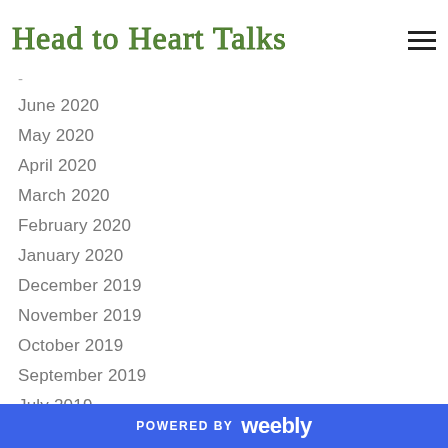Head to Heart Talks
-
June 2020
May 2020
April 2020
March 2020
February 2020
January 2020
December 2019
November 2019
October 2019
September 2019
July 2019
May 2019
April 2019
POWERED BY weebly